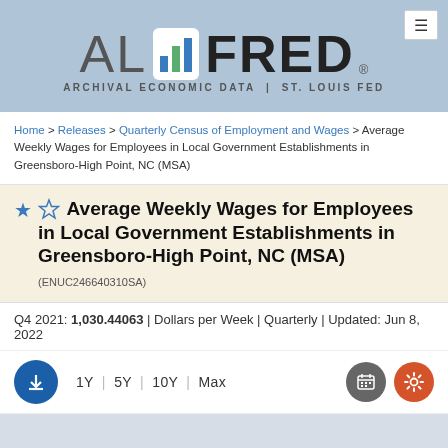[Figure (logo): ALFRED Archival Economic Data | St. Louis Fed logo with bar chart icon]
Home > Releases > Quarterly Census of Employment and Wages > Average Weekly Wages for Employees in Local Government Establishments in Greensboro-High Point, NC (MSA)
Average Weekly Wages for Employees in Local Government Establishments in Greensboro-High Point, NC (MSA) (ENUC246640310SA)
Q4 2021: 1,030.44063 | Dollars per Week | Quarterly | Updated: Jun 8, 2022
1Y | 5Y | 10Y | Max